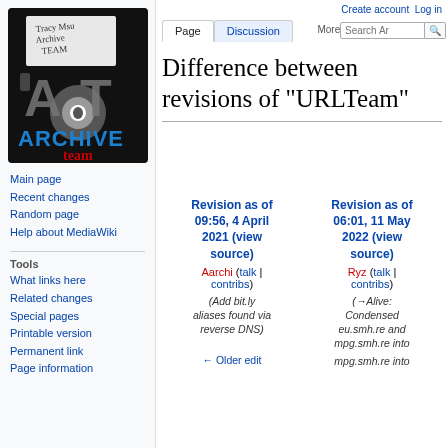[Figure (logo): Archive Team logo — black floppy disk with AT letters and 'ARCHIVE team' text in blue and red]
Main page
Recent changes
Random page
Help about MediaWiki
Tools
What links here
Related changes
Special pages
Printable version
Permanent link
Page information
Create account  Log in
Difference between revisions of "URLTeam"
| Revision as of 09:56, 4 April 2021 (view source) | Revision as of 06:01, 11 May 2022 (view source) |
| --- | --- |
| Aarchi (talk | contribs) | Ryz (talk | contribs) |
| (Add bit.ly aliases found via reverse DNS) | (→Alive: Condensed eu.smh.re and mpg.smh.re into |
| ← Older edit | mpg.smh.re into |